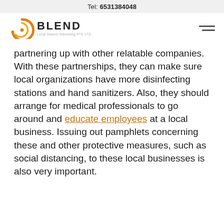Tel: 6531384048
[Figure (logo): Blend Local Search Marketing PTE LTD logo with orange circular icon and bold text BLEND]
partnering up with other relatable companies. With these partnerships, they can make sure local organizations have more disinfecting stations and hand sanitizers. Also, they should arrange for medical professionals to go around and educate employees at a local business. Issuing out pamphlets concerning these and other protective measures, such as social distancing, to these local businesses is also very important.